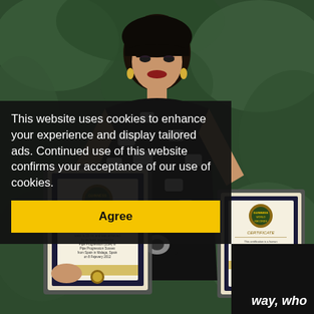[Figure (photo): A woman with dark hair wearing a black and white patterned dress holding two Guinness World Records certificates in frames, standing in front of green foliage background.]
This website uses cookies to enhance your experience and display tailored ads. Continued use of this website confirms your acceptance of our use of cookies.
Agree
way, who